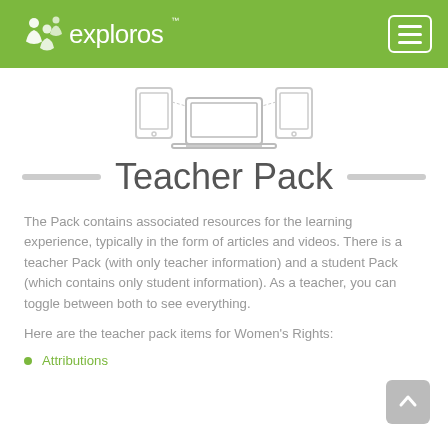exploros
[Figure (illustration): Line-art illustration of devices: tablet, laptop, and smaller tablet/phone arranged together]
Teacher Pack
The Pack contains associated resources for the learning experience, typically in the form of articles and videos. There is a teacher Pack (with only teacher information) and a student Pack (which contains only student information). As a teacher, you can toggle between both to see everything.
Here are the teacher pack items for Women's Rights:
Attributions